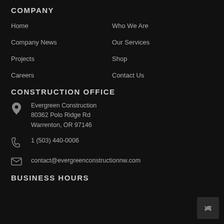COMPANY
Home
Who We Are
Company News
Our Services
Projects
Shop
Careers
Contact Us
CONSTRUCTION OFFICE
Evergreen Construction
80362 Polo Ridge Rd
Warrenton, OR 97146
1 (503) 440-0006
contact@evergreenconstructionnw.com
BUSINESS HOURS